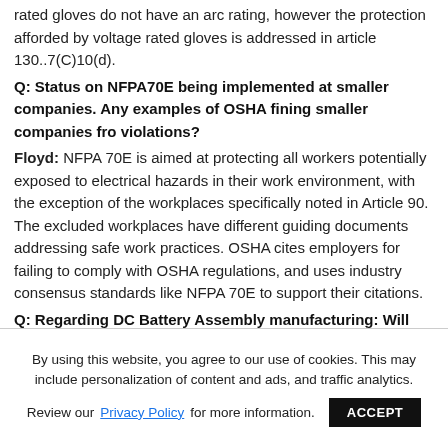rated gloves do not have an arc rating, however the protection afforded by voltage rated gloves is addressed in article 130..7(C)10(d).
Q: Status on NFPA70E being implemented at smaller companies. Any examples of OSHA fining smaller companies fro violations?
Floyd: NFPA 70E is aimed at protecting all workers potentially exposed to electrical hazards in their work environment, with the exception of the workplaces specifically noted in Article 90. The excluded workplaces have different guiding documents addressing safe work practices. OSHA cites employers for failing to comply with OSHA regulations, and uses industry consensus standards like NFPA 70E to support their citations.
Q: Regarding DC Battery Assembly manufacturing: Will there be clarifications to the DC sections for calculating Incident Energy, so that proper PPE can
By using this website, you agree to our use of cookies. This may include personalization of content and ads, and traffic analytics.
Review our Privacy Policy for more information. ACCEPT